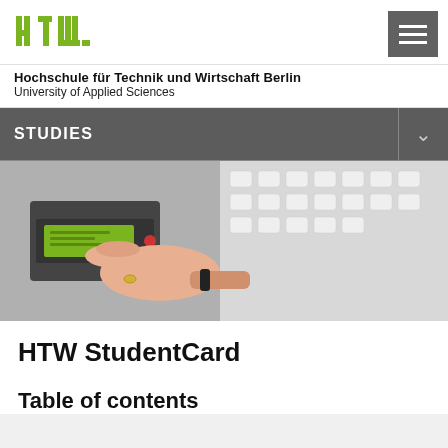[Figure (logo): HTW Berlin logo in green pixelated font]
Hochschule für Technik und Wirtschaft Berlin
University of Applied Sciences
STUDIES
[Figure (photo): A hand inserting a green HTW StudentCard into a card reader, with a keyboard in the background]
HTW StudentCard
Table of contents